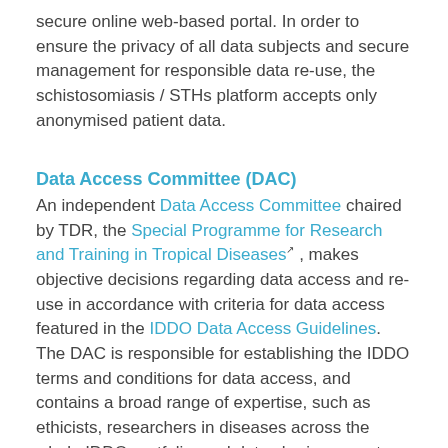secure online web-based portal. In order to ensure the privacy of all data subjects and secure management for responsible data re-use, the schistosomiasis / STHs platform accepts only anonymised patient data.
Data Access Committee (DAC)
An independent Data Access Committee chaired by TDR, the Special Programme for Research and Training in Tropical Diseases , makes objective decisions regarding data access and re-use in accordance with criteria for data access featured in the IDDO Data Access Guidelines. The DAC is responsible for establishing the IDDO terms and conditions for data access, and contains a broad range of expertise, such as ethicists, researchers in diseases across the whole IDDO portfolio, and data sharing experts.